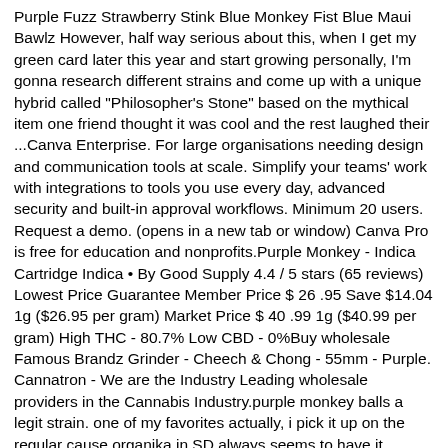Purple Fuzz Strawberry Stink Blue Monkey Fist Blue Maui Bawlz However, half way serious about this, when I get my green card later this year and start growing personally, I'm gonna research different strains and come up with a unique hybrid called "Philosopher's Stone" based on the mythical item one friend thought it was cool and the rest laughed their ...Canva Enterprise. For large organisations needing design and communication tools at scale. Simplify your teams' work with integrations to tools you use every day, advanced security and built-in approval workflows. Minimum 20 users. Request a demo. (opens in a new tab or window) Canva Pro is free for education and nonprofits.Purple Monkey - Indica Cartridge Indica • By Good Supply 4.4 / 5 stars (65 reviews) Lowest Price Guarantee Member Price $ 26 .95 Save $14.04 1g ($26.95 per gram) Market Price $ 40 .99 1g ($40.99 per gram) High THC - 80.7% Low CBD - 0%Buy wholesale Famous Brandz Grinder - Cheech & Chong - 55mm - Purple. Cannatron - We are the Industry Leading wholesale providers in the Cannabis Industry.purple monkey balls a legit strain. one of my favorites actually, i pick it up on the regular cause organika in SD always seems to have it. Kushomatic Registered User #12 Kushomatic, Jul 31, 2011 not my pic but heres proof Purple Monkey Balls - 420 Magazine Photo Gallery Dreadlocker Stay Wild! #13 Dreadlocker, Jul 31, 2011 yes I love PMB.Jun 18, 2012 · Well, there are only a few: -Old Man Purple Fuzz-Strawberry Stink -Blue Monkey Fist -Blue Maui Bawlz However, half way serious about this, when I get my green card later this year and start growing personally, I'm